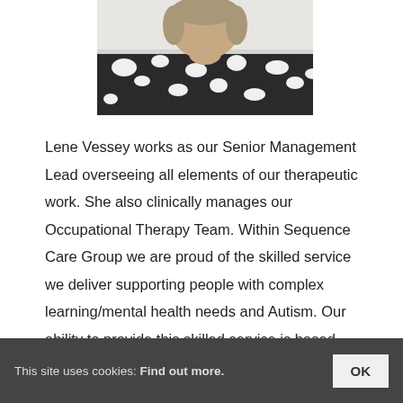[Figure (photo): Portrait photo of a woman with short light hair wearing a black and white patterned shirt, cropped at the shoulders, light background.]
Lene Vessey works as our Senior Management Lead overseeing all elements of our therapeutic work. She also clinically manages our Occupational Therapy Team. Within Sequence Care Group we are proud of the skilled service we deliver supporting people with complex learning/mental health needs and Autism. Our ability to provide this skilled service is based around our therapeutic care model of which Lene and her team are fundamental architects and mentors.
This site uses cookies: Find out more.  OK